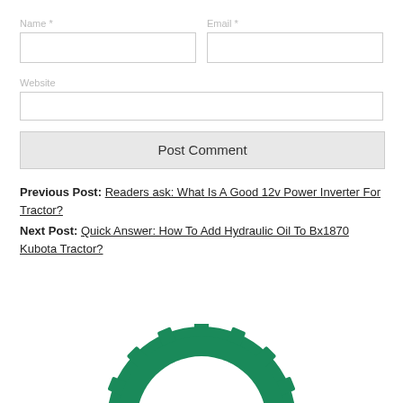Name *
Email *
Website
Post Comment
Previous Post: Readers ask: What Is A Good 12v Power Inverter For Tractor?
Next Post: Quick Answer: How To Add Hydraulic Oil To Bx1870 Kubota Tractor?
[Figure (logo): Green gear/cog logo with a circular arc element, partially cropped at bottom of page]